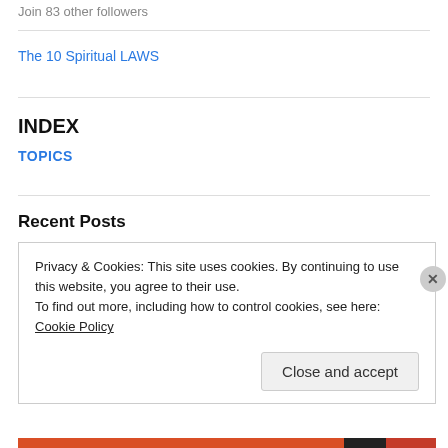Join 83 other followers
The 10 Spiritual LAWS
INDEX
TOPICS
Recent Posts
Privacy & Cookies: This site uses cookies. By continuing to use this website, you agree to their use.
To find out more, including how to control cookies, see here: Cookie Policy
Close and accept